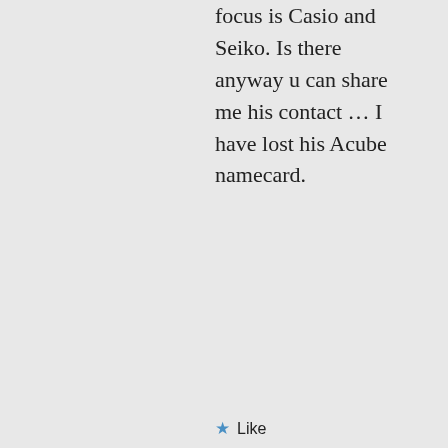focus is Casio and Seiko. Is there anyway u can share me his contact … I have lost his Acube namecard.
★ Like
↳ Reply
sgfreestyler on June 23, 2015 at 8:40 PM
Hi Derek, drop me a email. I have found him.